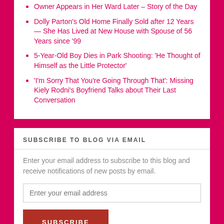Owner Appears in Her Ward Later – Story of the Day
Dolly Parton's Old Home Finally Sold after 12 Years — She Has Lived at New House with Spouse of 56 Years since '99
5-Year-Old Boy Dies in Park Shooting: 'He Thought of Himself as the Little Protector'
'I'm Sorry That You're Going Through That': Missing Kiely Rodni's Boyfriend Talks about Their Last Conversation
SUBSCRIBE TO BLOG VIA EMAIL
Enter your email address to subscribe to this blog and receive notifications of new posts by email.
Enter your email address
SUBSCRIBE
Join 2,319 other followers
CATEGORIES